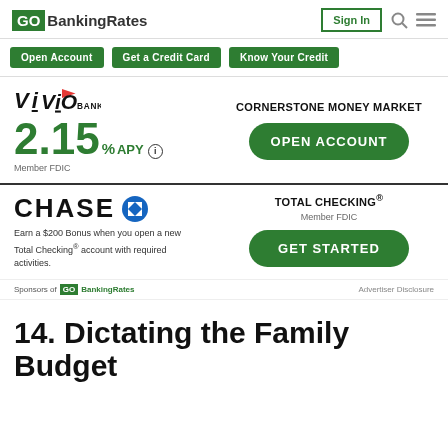GOBankingRates | Sign In
[Figure (logo): GoBankingRates logo with navigation buttons: Open Account, Get a Credit Card, Know Your Credit]
[Figure (infographic): Vio Bank Cornerstone Money Market ad: 2.15% APY, Member FDIC, Open Account button]
[Figure (infographic): Chase Total Checking ad: Earn a $200 Bonus when you open a new Total Checking account with required activities. Member FDIC, Get Started button]
Sponsors of GOBankingRates | Advertiser Disclosure
14. Dictating the Family Budget